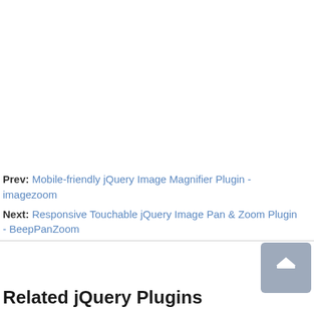Prev: Mobile-friendly jQuery Image Magnifier Plugin - imagezoom
Next: Responsive Touchable jQuery Image Pan & Zoom Plugin - BeepPanZoom
Related jQuery Plugins